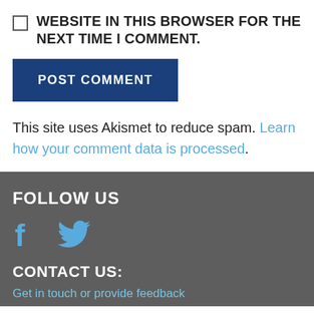WEBSITE IN THIS BROWSER FOR THE NEXT TIME I COMMENT.
POST COMMENT
This site uses Akismet to reduce spam. Learn how your comment data is processed.
FOLLOW US
[Figure (illustration): Facebook and Twitter social media icons in blue]
CONTACT US:
Get in touch or provide feedback